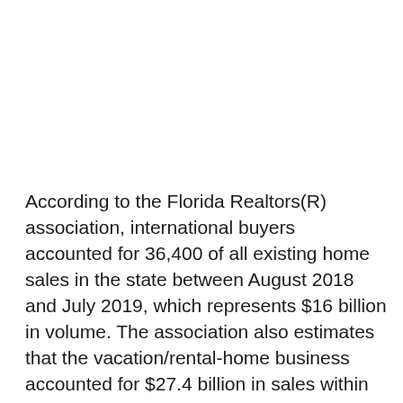According to the Florida Realtors(R) association, international buyers accounted for 36,400 of all existing home sales in the state between August 2018 and July 2019, which represents $16 billion in volume. The association also estimates that the vacation/rental-home business accounted for $27.4 billion in sales within the state in 2018. In addition, Florida also has four out of the top 10 cities on the U.S. News & World Report